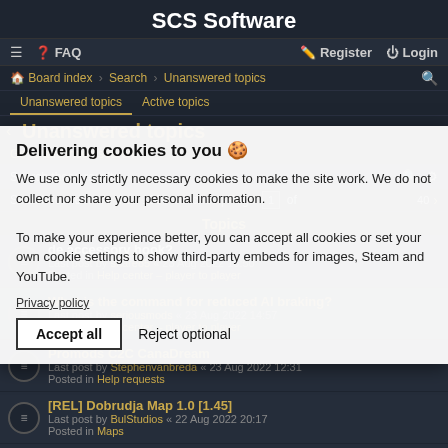SCS Software
≡  FAQ    Register  Login
Board index › Search › Unanswered topics
Unanswered topics   Active topics
Unanswered topics
Go to advanced search
Search these results
Search found more than 1000 matches | Page 1 of 40
Topics
Privacy policy (accessory hook?) Last post by snare85 « 23 Aug 2022 16:50 Posted in Help center – player to player
What is the command for reduced AI braking? Last post by seriousmods « 23 Aug 2022 14:57 Posted in Help center – player to player
Promods C2C CanaDream Last post by Stephenvanbreda « 23 Aug 2022 12:31 Posted in Help requests
[REL] Dobrudja Map 1.0 [1.45] Last post by BulStudios « 22 Aug 2022 20:17 Posted in Maps
The wire goes through the gas price sign
Delivering cookies to you 🍪

We use only strictly necessary cookies to make the site work. We do not collect nor share your personal information.

To make your experience better, you can accept all cookies or set your own cookie settings to show third-party embeds for images, Steam and YouTube.

Privacy policy

Accept all   Reject optional